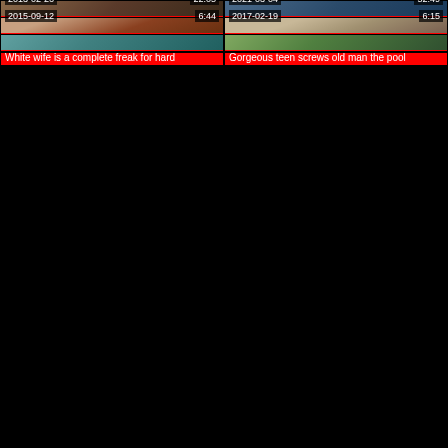[Figure (screenshot): Video thumbnail grid - top left: date 2021-03-11, duration 7:51]
OrgasmCouple – homemade solo
[Figure (screenshot): Video thumbnail grid - top right: date 2021-03-09, duration 13:30]
Sohn gezwungen Stiefmutter
[Figure (screenshot): Video thumbnail - date 2013-02-26, duration 22:05]
Busty nerd MILF anal homemade
[Figure (screenshot): Video thumbnail - date 2021-03-04, duration 52:49]
Jade Amber - TF"s Real Life 19
[Figure (screenshot): Video thumbnail - date 2015-09-12, duration 6:44]
White wife is a complete freak for hard
[Figure (screenshot): Video thumbnail - date 2017-02-19, duration 6:15]
Gorgeous teen screws old man the pool
[Figure (screenshot): Video thumbnail bottom left - partial]
[Figure (screenshot): Video thumbnail bottom right - partial]